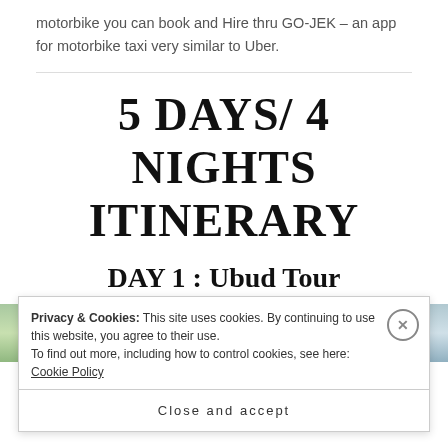motorbike you can book and Hire thru GO-JEK – an app for motorbike taxi very similar to Uber.
5 DAYS/ 4 NIGHTS ITINERARY
DAY 1 : Ubud Tour
[Figure (photo): Two side-by-side photos: left shows tropical palm trees with green foliage against sky, right shows palm trees against a lighter blue-grey sky.]
Privacy & Cookies: This site uses cookies. By continuing to use this website, you agree to their use.
To find out more, including how to control cookies, see here: Cookie Policy
Close and accept